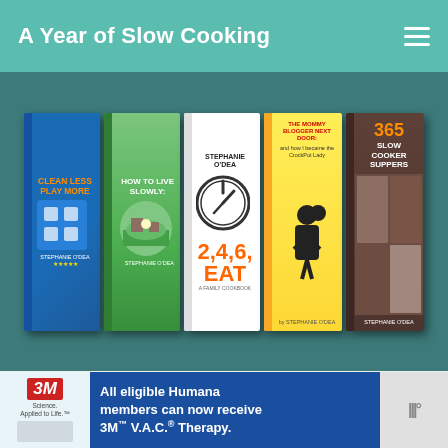A Year of Slow Cooking
[Figure (illustration): Five book covers displayed on a dark teal background: Clean Less Play More, How to Live Slowly, 2,4,6 Eat (with clock graphic), The Mommy Blogger Next Door (yellow cover with silhouette), 365 Slow Cooker Suppers (brown cover with food photos)]
Sign up for the newsletter and get recipes and articles sent directly to your inbox!
Name
Email
Sign Up
WHAT'S NEXT → CrockPot Gumbo Recipe
[Figure (photo): Advertisement: 3M Science Applied to Life. Healthcare worker in scrubs with patient. Blue section: All eligible Humana members can now receive 3M V.A.C. Therapy.]